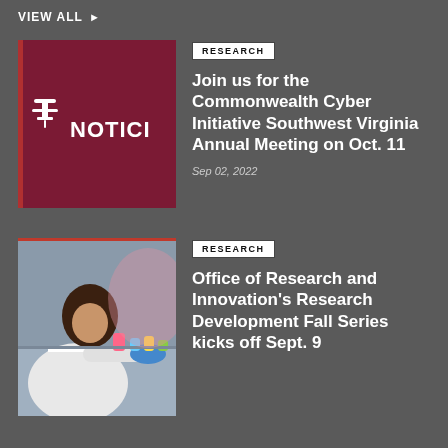VIEW ALL ▶
[Figure (logo): Dark maroon background with pin/thumbtack icon and partial text 'NOTICI']
RESEARCH
Join us for the Commonwealth Cyber Initiative Southwest Virginia Annual Meeting on Oct. 11
Sep 02, 2022
[Figure (photo): Female researcher in white lab coat and blue gloves working with lab equipment and colorful solutions]
RESEARCH
Office of Research and Innovation's Research Development Fall Series kicks off Sept. 9